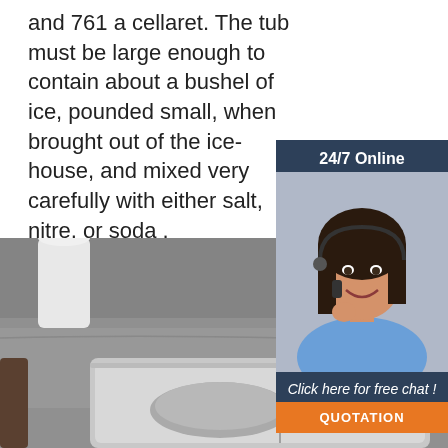and 761 a cellaret. The tub must be large enough to contain about a bushel of ice, pounded small, when brought out of the ice-house, and mixed very carefully with either salt, nitre, or soda .
[Figure (photo): Customer service representative woman wearing headset, smiling, with 24/7 Online chat widget overlay in dark blue and orange]
Get Price
[Figure (photo): Photo of stainless steel sink/tray on grey surface with white cylindrical object, and TOP logo watermark in orange]